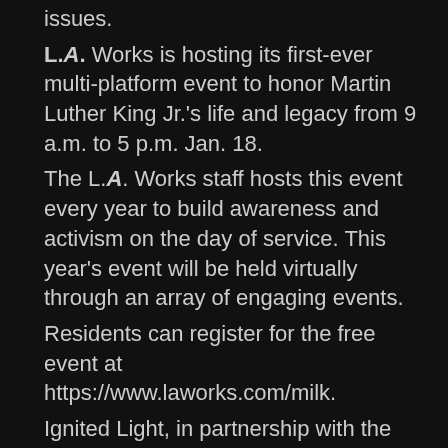issues.
L.A. Works is hosting its first-ever multi-platform event to honor Martin Luther King Jr.'s life and legacy from 9 a.m. to 5 p.m. Jan. 18.
The L.A. Works staff hosts this event every year to build awareness and activism on the day of service. This year's event will be held virtually through an array of engaging events.
Residents can register for the free event at https://www.laworks.com/milk.
Ignited Light, in partnership with the Baldwin Hills Crenshaw Plaza and other Los Angeles organizations, will present a day of service in honor of Martin Luther King Jr. from 10 a.m. to 2 p.m. Jan. 16.
Resident can take advantage of free assistance on immigration, landlord/ tenant legal services, medical, dental, vision screening, HIV/AIDS testing and employer services.
Participants also will be given fruits and vegetables.